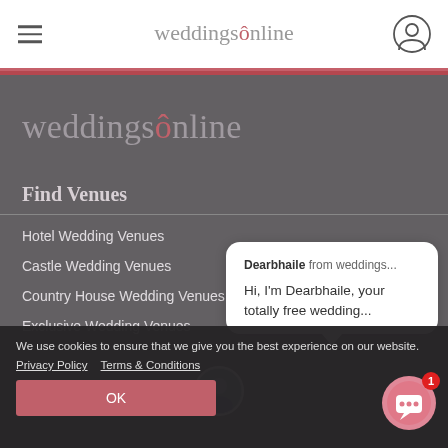weddingsonline
weddingsonline
Find Venues
Hotel Wedding Venues
Castle Wedding Venues
Country House Wedding Venues
Exclusive Wedding Venues
[Figure (screenshot): Chat popup with avatar showing Dearbhaile from weddings... Hi, I'm Dearbhaile, your totally free wedding...]
We use cookies to ensure that we give you the best experience on our website.
Privacy Policy   Terms & Conditions
OK